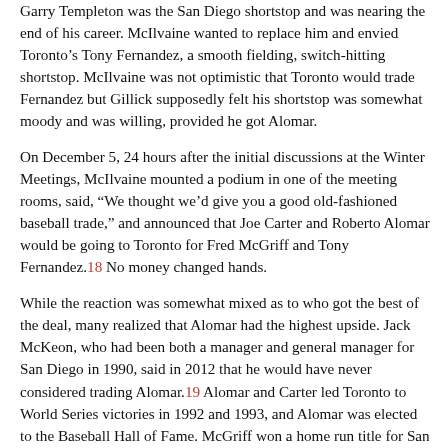Garry Templeton was the San Diego shortstop and was nearing the end of his career. McIlvaine wanted to replace him and envied Toronto's Tony Fernandez, a smooth fielding, switch-hitting shortstop. McIlvaine was not optimistic that Toronto would trade Fernandez but Gillick supposedly felt his shortstop was somewhat moody and was willing, provided he got Alomar.
On December 5, 24 hours after the initial discussions at the Winter Meetings, McIlvaine mounted a podium in one of the meeting rooms, said, “We thought we’d give you a good old-fashioned baseball trade,” and announced that Joe Carter and Roberto Alomar would be going to Toronto for Fred McGriff and Tony Fernandez.18 No money changed hands.
While the reaction was somewhat mixed as to who got the best of the deal, many realized that Alomar had the highest upside. Jack McKeon, who had been both a manager and general manager for San Diego in 1990, said in 2012 that he would have never considered trading Alomar.19 Alomar and Carter led Toronto to World Series victories in 1992 and 1993, and Alomar was elected to the Baseball Hall of Fame. McGriff won a home run title for San Diego in 1991, then was traded...